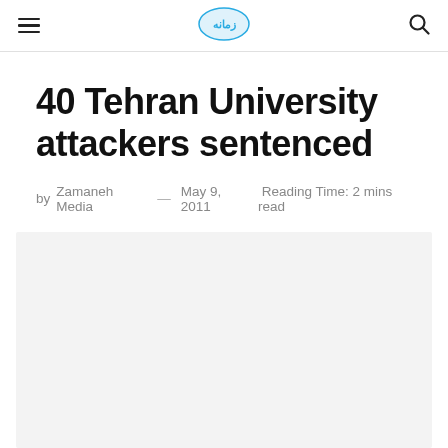Zamaneh Media — hamburger menu, logo, search icon
40 Tehran University attackers sentenced
by Zamaneh Media — May 9, 2011  Reading Time: 2 mins read
[Figure (photo): Light gray placeholder image area below the article meta line]